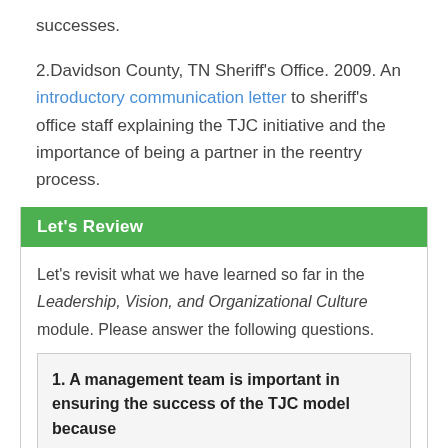successes.
2.Davidson County, TN Sheriff's Office. 2009. An introductory communication letter to sheriff's office staff explaining the TJC initiative and the importance of being a partner in the reentry process.
Let's Review
Let's revisit what we have learned so far in the Leadership, Vision, and Organizational Culture module. Please answer the following questions.
1. A management team is important in ensuring the success of the TJC model because
They can spread the word throughout the entire